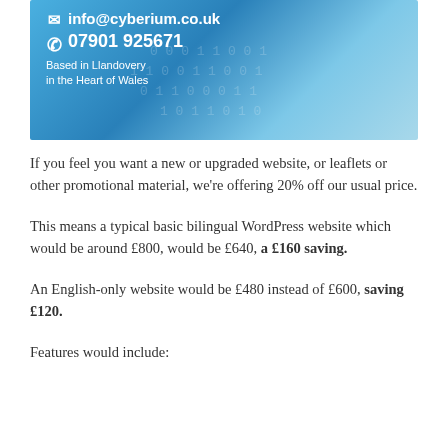[Figure (infographic): Banner image for Cyberium web design company showing email info@cyberium.co.uk, phone 07901 925671, and text 'Based in Llandovery in the Heart of Wales' on a blue digital/technology themed background with binary code pattern and a metallic sculpture silhouette]
If you feel you want a new or upgraded website, or leaflets or other promotional material, we're offering 20% off our usual price.
This means a typical basic bilingual WordPress website which would be around £800, would be £640, a £160 saving.
An English-only website would be £480 instead of £600, saving £120.
Features would include: